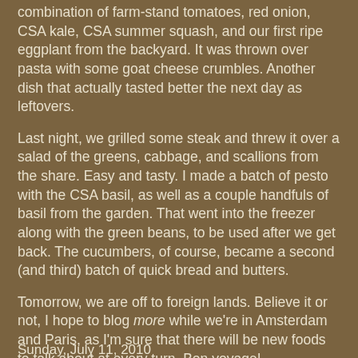combination of farm-stand tomatoes, red onion, CSA kale, CSA summer squash, and our first ripe eggplant from the backyard. It was thrown over pasta with some goat cheese crumbles. Another dish that actually tasted better the next day as leftovers.
Last night, we grilled some steak and threw it over a salad of the greens, cabbage, and scallions from the share. Easy and tasty. I made a batch of pesto with the CSA basil, as well as a couple handfuls of basil from the garden. That went into the freezer along with the green beans, to be used after we get back. The cucumbers, of course, became a second (and third) batch of quick bread and butters.
Tomorrow, we are off to foreign lands. Believe it or not, I hope to blog more while we're in Amsterdam and Paris, as I'm sure that there will be new foods to talk about at every turn. Bon voyage!
Laura at 12:05 PM    1 comment:
Sunday, July 11, 2010